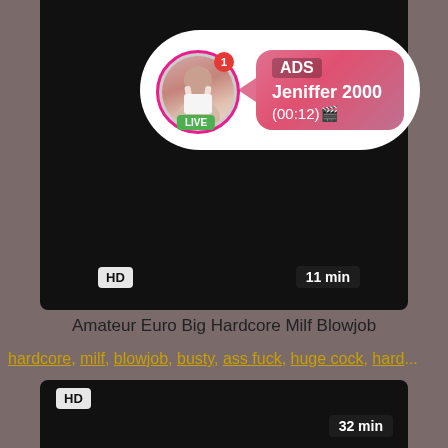[Figure (screenshot): Video thumbnail top - black background with advertisement overlay showing LIVE user Jeniffer 2000 with HD badge and 11 min duration]
Amateur Euro Big Hardcore Milf Blowjob
hardcore, milf, blowjob, busty, ass fuck, huge cock, hard...
[Figure (screenshot): Video thumbnail bottom - black background with HD badge and 32 min duration]